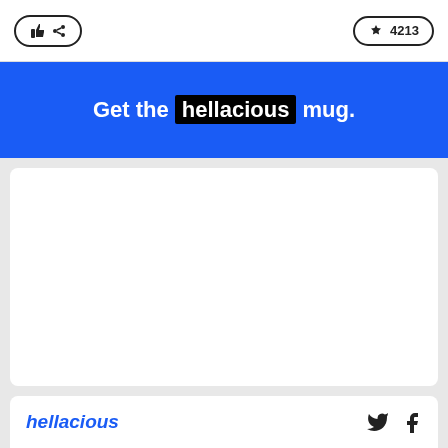[Figure (screenshot): Top white bar with two rounded button groups — a thumbs up and share button on the left, and a single button on the right with an icon and number]
Get the hellacious mug.
[Figure (other): Large white card/panel, mostly empty (advertisement or image placeholder)]
[Figure (other): Bottom white bar with italic blue text on the left and Twitter and Facebook social icons on the right]